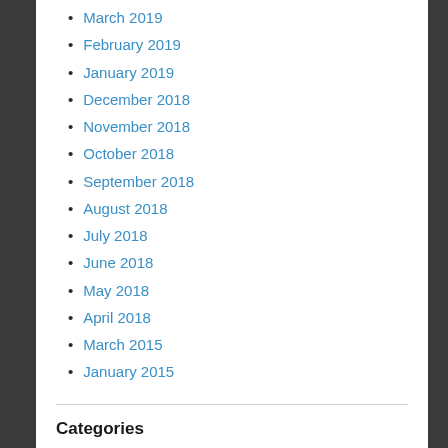March 2019
February 2019
January 2019
December 2018
November 2018
October 2018
September 2018
August 2018
July 2018
June 2018
May 2018
April 2018
March 2015
January 2015
Categories
Business Setup